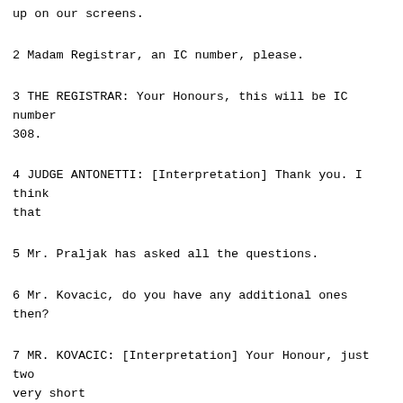up on our screens.
2 Madam Registrar, an IC number, please.
3 THE REGISTRAR: Your Honours, this will be IC number 308.
4 JUDGE ANTONETTI: [Interpretation] Thank you. I think that
5 Mr. Praljak has asked all the questions.
6 Mr. Kovacic, do you have any additional ones then?
7 MR. KOVACIC: [Interpretation] Your Honour, just two very short
8 questions to round off this topic.
9 Cross-examination by Mr. Kovacic:
10 Q. [Interpretation] Witness, the bunker that you were asked about
11 that exploded when it was hit by a Zeiss at Stotina, can you tell us what
12 time of day that was?
13 A. It was at Hum.
14 Q. Yes. Hum.